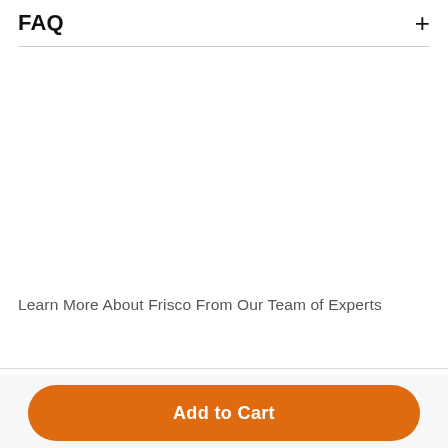FAQ
Learn More About Frisco From Our Team of Experts
Add to Cart